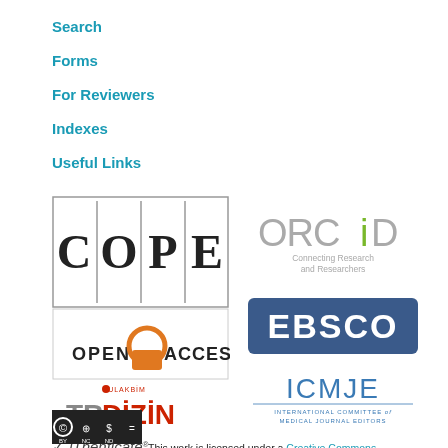Search
Forms
For Reviewers
Indexes
Useful Links
[Figure (logo): COPE logo - Committee on Publication Ethics]
[Figure (logo): Open Access logo]
[Figure (logo): TRDizin logo with ULAKBİM]
[Figure (logo): iThenticate logo]
[Figure (logo): ORCID - Connecting Research and Researchers]
[Figure (logo): EBSCO logo]
[Figure (logo): ICMJE - International Committee of Medical Journal Editors]
[Figure (logo): Creative Commons BY NC ND license badge]
This work is licensed under a Creative Commons